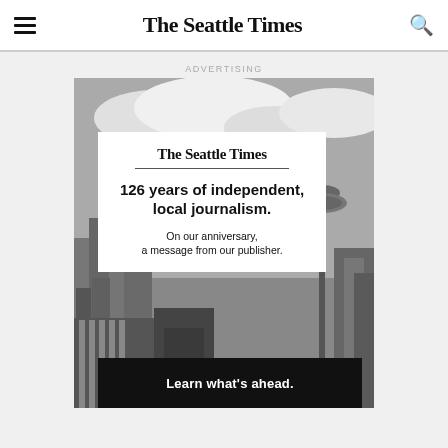The Seattle Times
ADVERTISING
[Figure (advertisement): The Seattle Times advertisement featuring a grayscale photo of Seattle skyline with Space Needle. White card overlay with Seattle Times logo, text '126 years of independent, local journalism. On our anniversary, a message from our publisher.' Black button reading 'Learn what's ahead.']